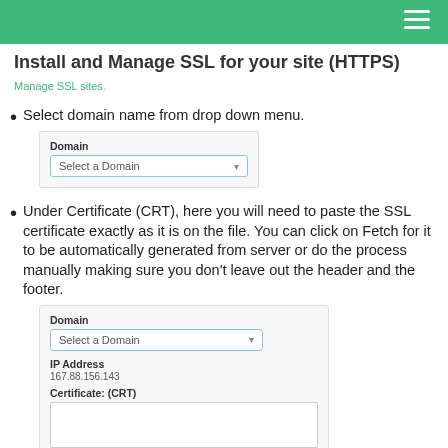Install and Manage SSL for your site (HTTPS)
Install and Manage SSL for your site (HTTPS)
Manage SSL sites.
Select domain name from drop down menu.
[Figure (screenshot): A form field labeled 'Domain' with a dropdown selector showing 'Select a Domain']
Under Certificate (CRT), here you will need to paste the SSL certificate exactly as it is on the file. You can click on Fetch for it to be automatically generated from server or do the process manually making sure you don't leave out the header and the footer.
[Figure (screenshot): A form with fields: Domain dropdown 'Select a Domain', IP Address showing '167.88.156.143', and Certificate: (CRT) textarea]